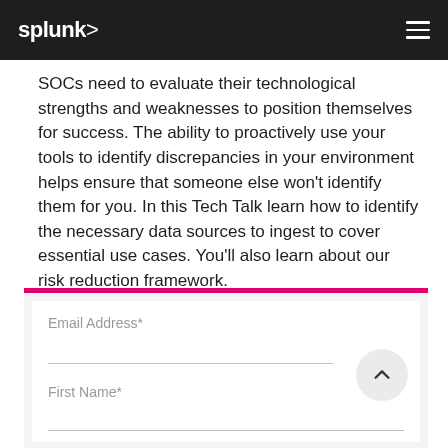splunk>
SOCs need to evaluate their technological strengths and weaknesses to position themselves for success. The ability to proactively use your tools to identify discrepancies in your environment helps ensure that someone else won't identify them for you. In this Tech Talk learn how to identify the necessary data sources to ingest to cover essential use cases. You'll also learn about our risk reduction framework.
[Figure (screenshot): Web form with pink top border, containing Email Address* and First Name* input fields, and a circular scroll-up button on the right side.]